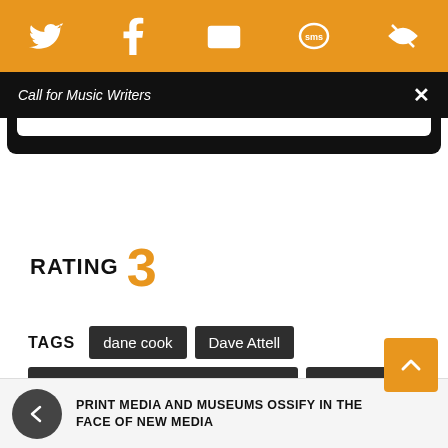[Figure (screenshot): Orange header bar with social media icons: Twitter, Facebook, Email, SMS, and another icon]
Call for Music Writers
APPLY
RATING 3
TAGS  dane cook  Dave Attell  dave attell's insomniac tour presents  Greg Giraldo  sean rouse
PRINT MEDIA AND MUSEUMS OSSIFY IN THE FACE OF NEW MEDIA